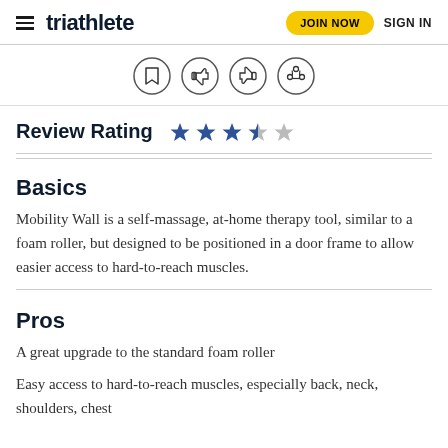triathlete | JOIN NOW | SIGN IN
[Figure (other): Icon row with bookmark, thumbs up, thumbs down, and share icons in circles]
Review Rating
[Figure (other): Star rating showing 3.5 out of 5 stars (4 filled, 1 half, wait — 3 filled, 1 half-filled, 1 empty dark, 1 empty light)]
Basics
Mobility Wall is a self-massage, at-home therapy tool, similar to a foam roller, but designed to be positioned in a door frame to allow easier access to hard-to-reach muscles.
Pros
A great upgrade to the standard foam roller
Easy access to hard-to-reach muscles, especially back, neck, shoulders, chest